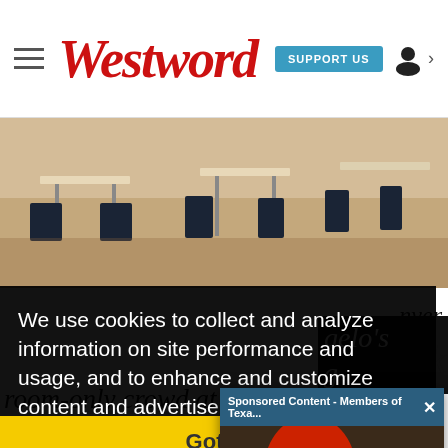Westword — SUPPORT US
[Figure (photo): Restaurant interior with wooden tables and dark chairs, empty dining room]
We use cookies to collect and analyze information on site performance and usage, and to enhance and customize content and advertisements. By continuing to use the site, you agree to cookies to be placed on your device. Read our cookies policy a...
[Figure (screenshot): Sponsored Content popup: Members of Texas Texans visited Uvalde High School & surprised football team with new uniforms ahead of their home opener]
Got it!
nver
talk
gelo's g-
room-only crowd at the 75-year-old Don's